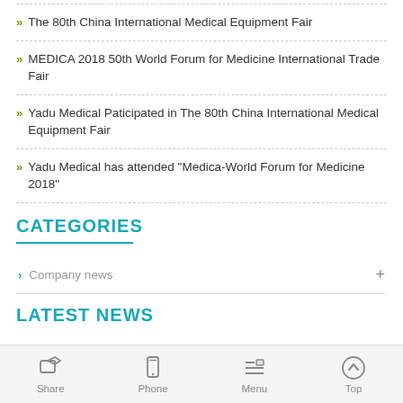The 80th China International Medical Equipment Fair
MEDICA 2018 50th World Forum for Medicine International Trade Fair
Yadu Medical Paticipated in The 80th China International Medical Equipment Fair
Yadu Medical has attended “Medica-World Forum for Medicine 2018”
CATEGORIES
Company news
LATEST NEWS
Share   Phone   Menu   Top